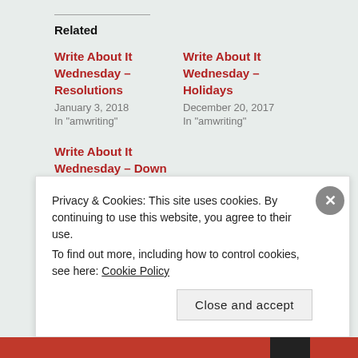Related
Write About It Wednesday – Resolutions
January 3, 2018
In "amwriting"
Write About It Wednesday – Holidays
December 20, 2017
In "amwriting"
Write About It Wednesday – Down With The Sickness
May 9, 2018
In "writing prompts"
Privacy & Cookies: This site uses cookies. By continuing to use this website, you agree to their use.
To find out more, including how to control cookies, see here: Cookie Policy
Close and accept